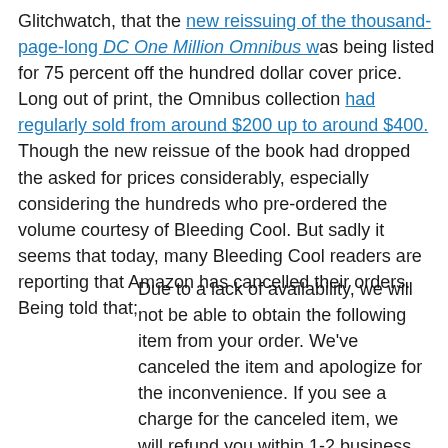Glitchwatch, that the new reissuing of the thousand-page-long DC One Million Omnibus was being listed for 75 percent off the hundred dollar cover price. Long out of print, the Omnibus collection had regularly sold from around $200 up to around $400. Though the new reissue of the book had dropped the asked for prices considerably, especially considering the hundreds who pre-ordered the volume courtesy of Bleeding Cool. But sadly it seems that today, many Bleeding Cool readers are reporting that Amazon has cancelled their orders. Being told that;
Due to a lack of availability, we will not be able to obtain the following item from your order. We've canceled the item and apologize for the inconvenience. If you see a charge for the canceled item, we will refund you within 1-2 business days. If you are still interested in purchasing this item, it may be available from other sellers. Please visit the detail page for this item below.